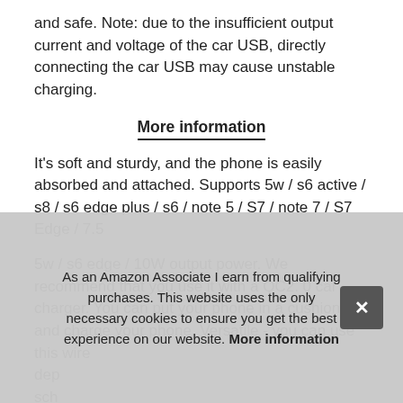and safe. Note: due to the insufficient output current and voltage of the car USB, directly connecting the car USB may cause unstable charging.
More information
It's soft and sturdy, and the phone is easily absorbed and attached. Supports 5w / s6 active / s8 / s6 edge plus / s6 / note 5 / S7 / note 7 / S7 Edge / 7.5
5w / s6 edge / 10W output power. We recommend that you use it with a QC2. 0 car charger. You can put your phone in a cushion and charge your phone. Versatile - you can use this wire... dep... sch... visc... ens... zone and the bumpy road.
As an Amazon Associate I earn from qualifying purchases. This website uses the only necessary cookies to ensure you get the best experience on our website. More information